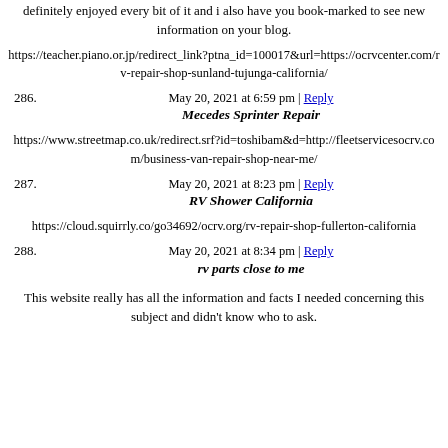definitely enjoyed every bit of it and i also have you book-marked to see new information on your blog.
https://teacher.piano.or.jp/redirect_link?ptna_id=100017&url=https://ocrvcenter.com/rv-repair-shop-sunland-tujunga-california/
May 20, 2021 at 6:59 pm | Reply
286. Mecedes Sprinter Repair
https://www.streetmap.co.uk/redirect.srf?id=toshibam&d=http://fleetservicesocrv.com/business-van-repair-shop-near-me/
May 20, 2021 at 8:23 pm | Reply
287. RV Shower California
https://cloud.squirrly.co/go34692/ocrv.org/rv-repair-shop-fullerton-california
May 20, 2021 at 8:34 pm | Reply
288. rv parts close to me
This website really has all the information and facts I needed concerning this subject and didn't know who to ask.